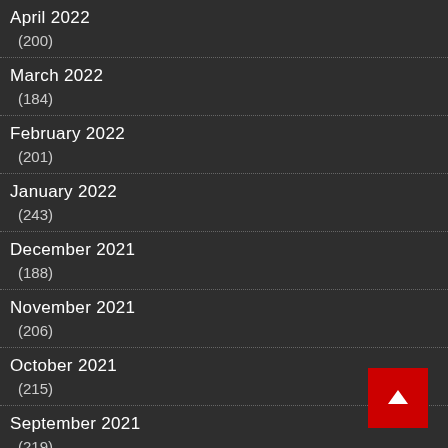April 2022 (200)
March 2022 (184)
February 2022 (201)
January 2022 (243)
December 2021 (188)
November 2021 (206)
October 2021 (215)
September 2021 (219)
August 2021